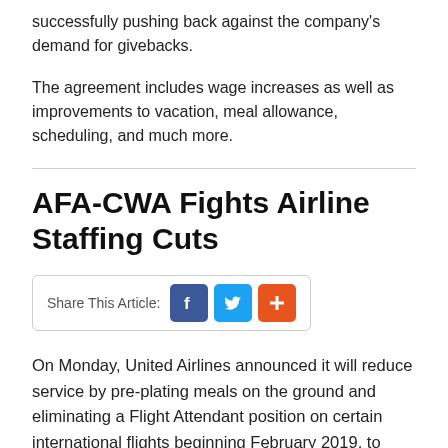successfully pushing back against the company's demand for givebacks.
The agreement includes wage increases as well as improvements to vacation, meal allowance, scheduling, and much more.
AFA-CWA Fights Airline Staffing Cuts
[Figure (infographic): Share This Article buttons for Facebook, Twitter, and a plus/add service]
On Monday, United Airlines announced it will reduce service by pre-plating meals on the ground and eliminating a Flight Attendant position on certain international flights beginning February 2019, to "align" with staffing levels at American and Delta.